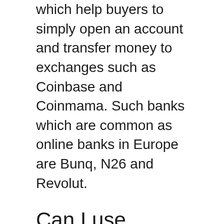which help buyers to simply open an account and transfer money to exchanges such as Coinbase and Coinmama. Such banks which are common as online banks in Europe are Bunq, N26 and Revolut.
Can I use alternative platforms to purchase ETH 20 Day MA Crossover Set or Bitcoin with credit cards?
Yes you can, you just need to visit Changelly which an easy to trade in site especially when it comes to buying Bitcoin with credit cards. It provides an automatic cryptocurrency exchange that gives a buyer the opportunity to exchange crypto fast and buy them using credit card. It has been